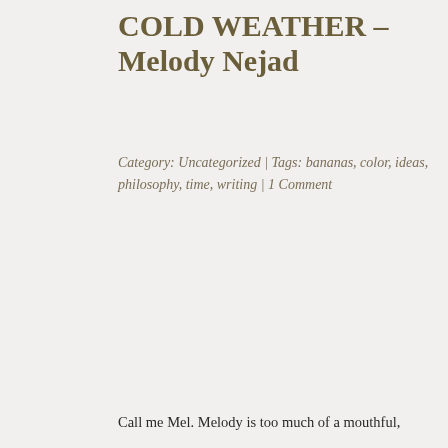COLD WEATHER – Melody Nejad
Category: Uncategorized | Tags: bananas, color, ideas, philosophy, time, writing | 1 Comment
Call me Mel. Melody is too much of a mouthful,